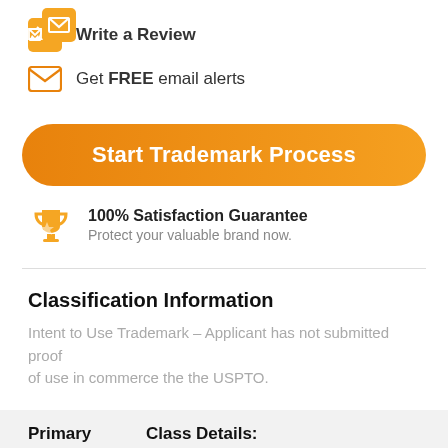Write a Review
Get FREE email alerts
Start Trademark Process
100% Satisfaction Guarantee
Protect your valuable brand now.
Classification Information
Intent to Use Trademark – Applicant has not submitted proof of use in commerce the the USPTO.
Primary    Class Details: